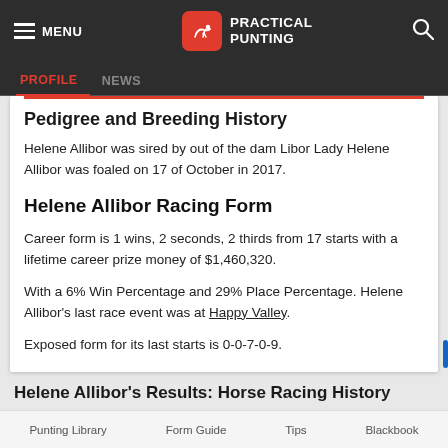MENU | PRACTICAL PUNTING
PROFILE | NEWS
Pedigree and Breeding History
Helene Allibor was sired by out of the dam Libor Lady Helene Allibor was foaled on 17 of October in 2017.
Helene Allibor Racing Form
Career form is 1 wins, 2 seconds, 2 thirds from 17 starts with a lifetime career prize money of $1,460,320.
With a 6% Win Percentage and 29% Place Percentage. Helene Allibor's last race event was at Happy Valley.
Exposed form for its last starts is 0-0-7-0-9.
Helene Allibor's Results: Horse Racing History
Punting Library   Form Guide   Tips   Blackbook